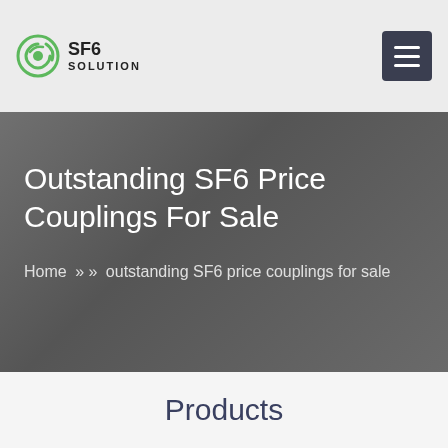SF6 SOLUTION
Outstanding SF6 Price Couplings For Sale
Home » » outstanding SF6 price couplings for sale
Products